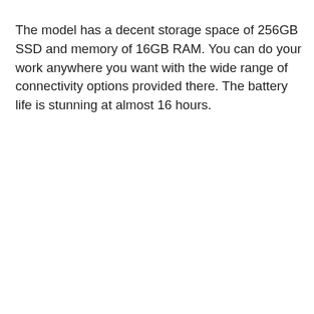The model has a decent storage space of 256GB SSD and memory of 16GB RAM. You can do your work anywhere you want with the wide range of connectivity options provided there. The battery life is stunning at almost 16 hours.